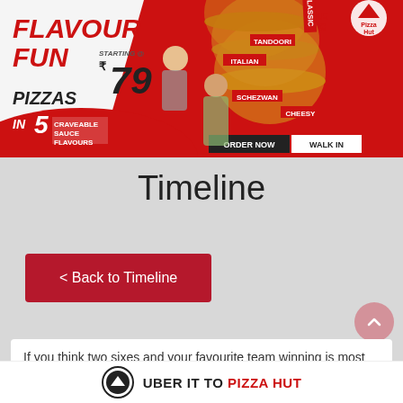[Figure (illustration): Pizza Hut Flavour Fun Pizzas advertisement banner. Red and white design with two people, stacked pizzas labeled Classic, Italian, Tandoori, Schezwan, Cheesy. Text: FLAVOUR FUN STARTING @ ₹79 PIZZAS, IN 5 CRAVEABLE SAUCE FLAVOURS. ORDER NOW | WALK IN. DIL KHOL KE DELIVERING. Pizza Hut logo top right.]
Timeline
< Back to Timeline
If you think two sixes and your favourite team winning is most
[Figure (logo): Uber logo circle with arrow icon next to text: UBER IT TO PIZZA HUT]